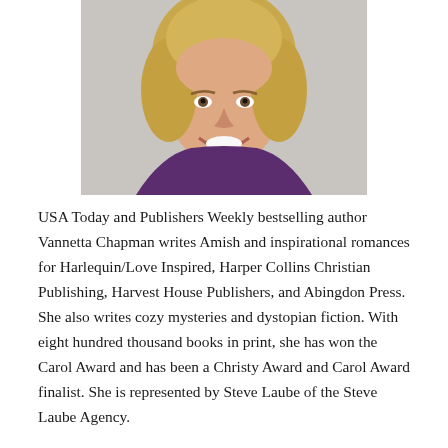[Figure (photo): Headshot photograph of Vannetta Chapman, a smiling woman with blonde hair, wearing a purple top, shown from shoulders up against a light gray background.]
USA Today and Publishers Weekly bestselling author Vannetta Chapman writes Amish and inspirational romances for Harlequin/Love Inspired, Harper Collins Christian Publishing, Harvest House Publishers, and Abingdon Press. She also writes cozy mysteries and dystopian fiction. With eight hundred thousand books in print, she has won the Carol Award and has been a Christy Award and Carol Award finalist. She is represented by Steve Laube of the Steve Laube Agency.
Vannetta has taught about writing and about the Amish in several states as well as at the collegiate level. She speaks at community clubs, writing groups, quilting clubs